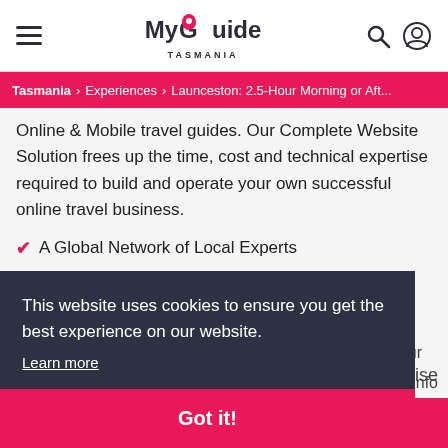[Figure (logo): MyGuide Tasmania logo with pink location pin icon]
MyGuide TASMANIA — navigation header with hamburger menu, logo, search and user icons
Tasmania > Experiences > Launceston: 2.5-Hour Morning or Aft...
Online & Mobile travel guides. Our Complete Website Solution frees up the time, cost and technical expertise required to build and operate your own successful online travel business.
A Global Network of Local Experts
An Established Travel Brand
Cutting Edge Technology (partially visible)
This website uses cookies to ensure you get the best experience on our website.
Learn more
Got it!